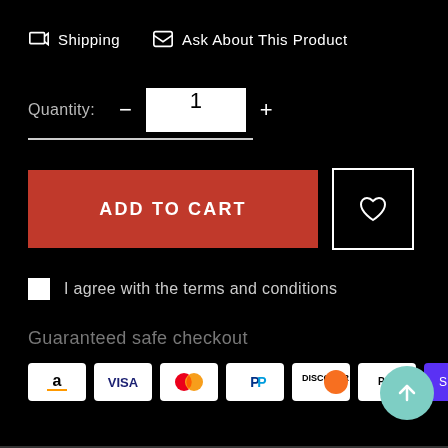Shipping   Ask About This Product
Quantity: - 1 +
[Figure (screenshot): ADD TO CART red button and wishlist heart icon button]
I agree with the terms and conditions
Guaranteed safe checkout
[Figure (illustration): Payment method icons: Amazon, Visa, Mastercard, PayPal, Discover, Apple Pay, Shop Pay]